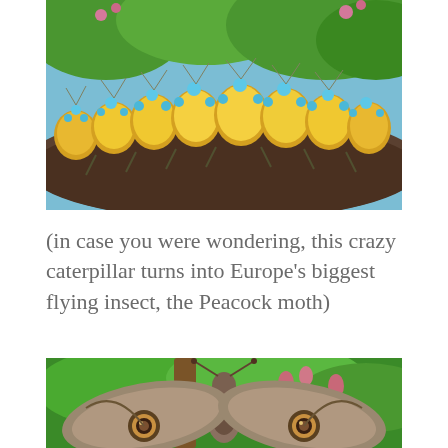[Figure (photo): Close-up macro photo of a bright yellow and orange caterpillar with distinctive blue-tipped spiky protrusions along its body, crawling on a dark branch. Background shows green foliage and blue sky with pink flowers.]
(in case you were wondering, this crazy caterpillar turns into Europe's biggest flying insect, the Peacock moth)
[Figure (photo): Photo of a large Peacock moth (Saturnia pyri) resting among green leaves and pink flower buds on a branch. The moth displays large eyespot patterns on its wings.]